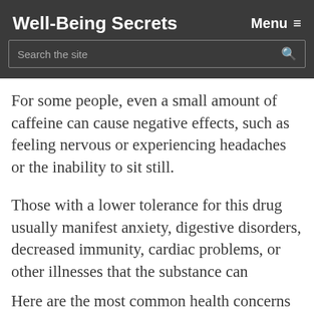Well-Being Secrets    Menu ≡
For some people, even a small amount of caffeine can cause negative effects, such as feeling nervous or experiencing headaches or the inability to sit still.
Those with a lower tolerance for this drug usually manifest anxiety, digestive disorders, decreased immunity, cardiac problems, or other illnesses that the substance can exacerbate (3).
Here are the most common health concerns either